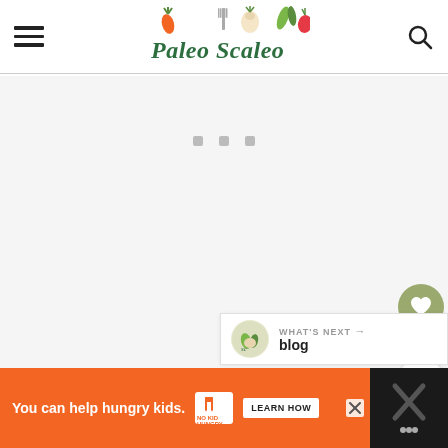[Figure (logo): Paleo Scaleo website logo with illustrated vegetables and fork, with cursive green text reading 'Paleo Scaleo']
[Figure (screenshot): Loading/blank content area with three small grey square dots indicating loading state]
[Figure (infographic): Heart/like button (olive green circle with heart icon), count '61', and share button (white circle with share icon)]
WHAT'S NEXT → blog
You can help hungry kids. NO KID HUNGRY LEARN HOW